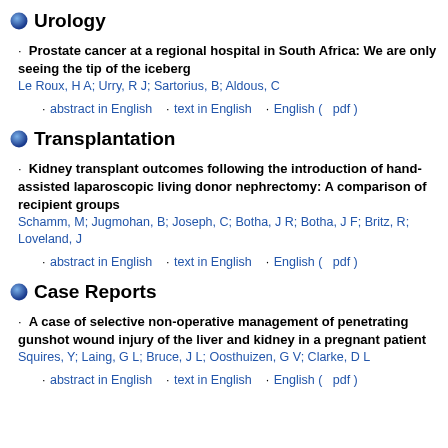Urology
Prostate cancer at a regional hospital in South Africa: We are only seeing the tip of the iceberg
Le Roux, H A; Urry, R J; Sartorius, B; Aldous, C
· abstract in English   · text in English   · English (   pdf )
Transplantation
Kidney transplant outcomes following the introduction of hand-assisted laparoscopic living donor nephrectomy: A comparison of recipient groups
Schamm, M; Jugmohan, B; Joseph, C; Botha, J R; Botha, J F; Britz, R; Loveland, J
· abstract in English   · text in English   · English (   pdf )
Case Reports
A case of selective non-operative management of penetrating gunshot wound injury of the liver and kidney in a pregnant patient
Squires, Y; Laing, G L; Bruce, J L; Oosthuizen, G V; Clarke, D L
· abstract in English   · text in English   · English (   pdf )